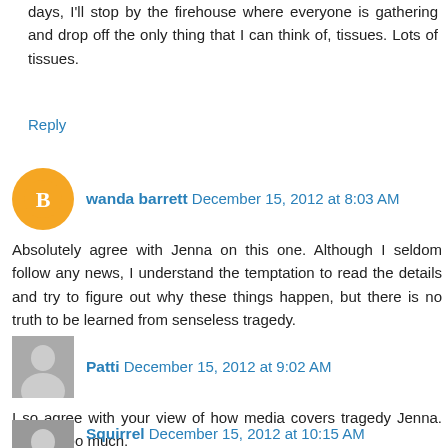days, I'll stop by the firehouse where everyone is gathering and drop off the only thing that I can think of, tissues. Lots of tissues.
Reply
wanda barrett  December 15, 2012 at 8:03 AM
Absolutely agree with Jenna on this one. Although I seldom follow any news, I understand the temptation to read the details and try to figure out why these things happen, but there is no truth to be learned from senseless tragedy.
Reply
Patti  December 15, 2012 at 9:02 AM
I so agree with your view of how media covers tragedy Jenna. It's just too much.
Reply
Squirrel  December 15, 2012 at 10:15 AM